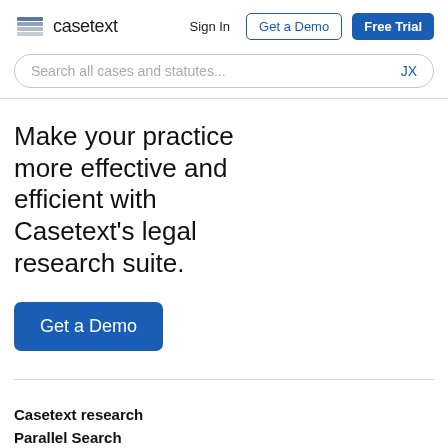[Figure (logo): Casetext logo with stacked pages icon and wordmark]
Sign In
Get a Demo
Free Trial
Search all cases and statutes...
JX
Make your practice more effective and efficient with Casetext's legal research suite.
Get a Demo
Casetext research
Parallel Search